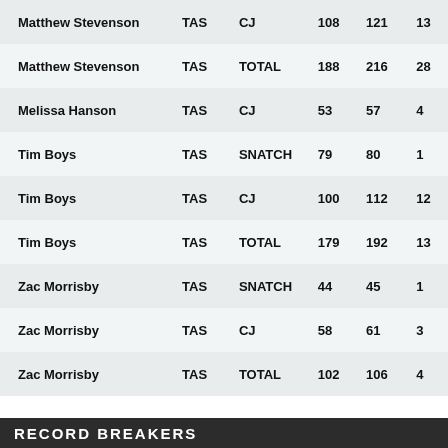| Name | State | Lift | Old | New | Diff |
| --- | --- | --- | --- | --- | --- |
| Matthew Stevenson | TAS | CJ | 108 | 121 | 13 |
| Matthew Stevenson | TAS | TOTAL | 188 | 216 | 28 |
| Melissa Hanson | TAS | CJ | 53 | 57 | 4 |
| Tim Boys | TAS | SNATCH | 79 | 80 | 1 |
| Tim Boys | TAS | CJ | 100 | 112 | 12 |
| Tim Boys | TAS | TOTAL | 179 | 192 | 13 |
| Zac Morrisby | TAS | SNATCH | 44 | 45 | 1 |
| Zac Morrisby | TAS | CJ | 58 | 61 | 3 |
| Zac Morrisby | TAS | TOTAL | 102 | 106 | 4 |
RECORD BREAKERS